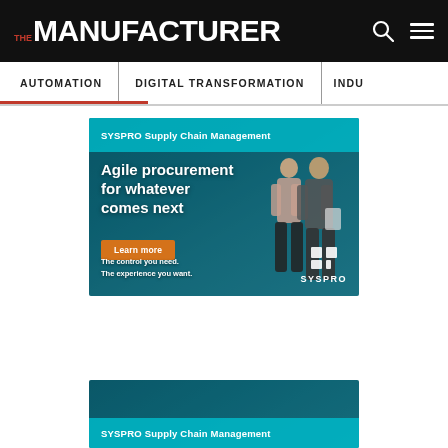THE MANUFACTURER
AUTOMATION | DIGITAL TRANSFORMATION | INDU...
[Figure (advertisement): SYSPRO Supply Chain Management advertisement. Headline: Agile procurement for whatever comes next. Button: Learn more. Tagline: The control you need. The experience you want. SYSPRO logo bottom right.]
[Figure (advertisement): Second SYSPRO Supply Chain Management advertisement banner (partial view), showing teal bar with text SYSPRO Supply Chain Management.]